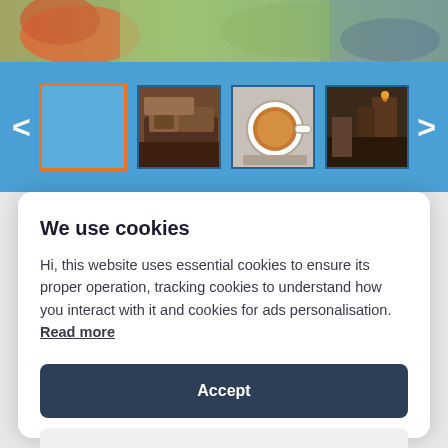[Figure (photo): Top photo strip showing food/salad image with green and orange colors]
[Figure (screenshot): Blue carousel bar with navigation arrows and four thumbnail images: one selected (blue with orange border), chocolate food item, coffee cup, and interior/candle scene]
We use cookies
Hi, this website uses essential cookies to ensure its proper operation, tracking cookies to understand how you interact with it and cookies for ads personalisation. Read more
Accept
Settings